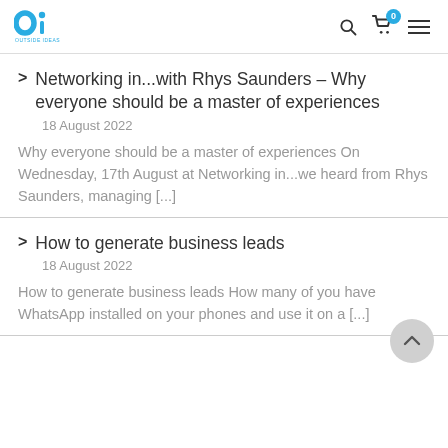Outside Ideas — navigation header with logo, search, cart (0), menu icons
Networking in...with Rhys Saunders – Why everyone should be a master of experiences
18 August 2022
Why everyone should be a master of experiences On Wednesday, 17th August at Networking in...we heard from Rhys Saunders, managing [...]
How to generate business leads
18 August 2022
How to generate business leads How many of you have WhatsApp installed on your phones and use it on a [...]